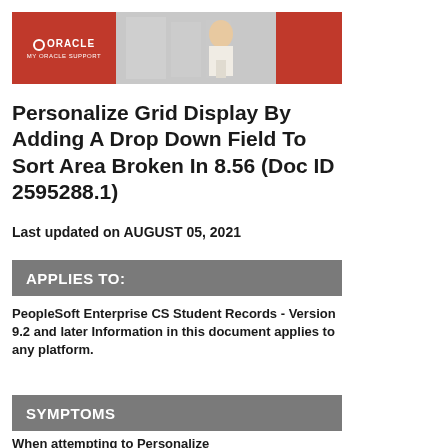[Figure (logo): Oracle My Oracle Support banner with red left section showing Oracle logo and 'MY ORACLE SUPPORT' text, center section showing a person working, and red right section]
Personalize Grid Display By Adding A Drop Down Field To Sort Area Broken In 8.56 (Doc ID 2595288.1)
Last updated on AUGUST 05, 2021
APPLIES TO:
PeopleSoft Enterprise CS Student Records - Version 9.2 and later Information in this document applies to any platform.
SYMPTOMS
When attempting to Personalize